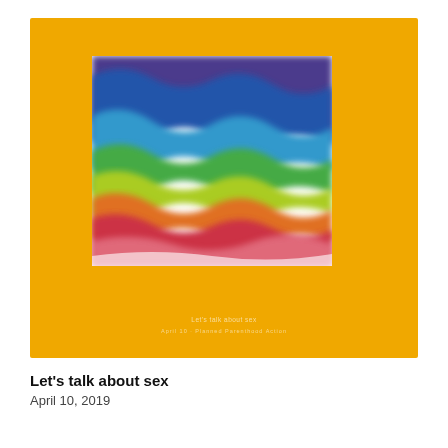[Figure (illustration): Book or album cover with a golden/amber yellow background. In the center is a white-bordered square containing an abstract rainbow wave illustration with bands of purple, blue, green, yellow, orange, red, and pink/white undulating forms. Below the image area on the yellow background is small white text (blurred/illegible).]
Let's talk about sex
April 10, 2019